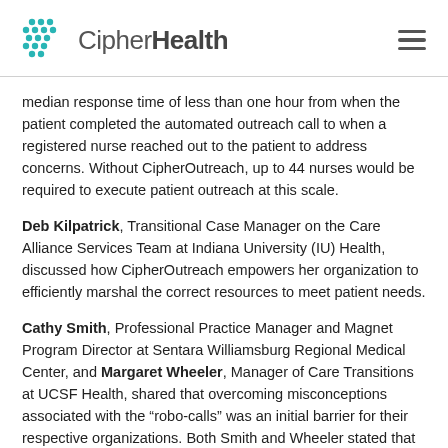CipherHealth
median response time of less than one hour from when the patient completed the automated outreach call to when a registered nurse reached out to the patient to address concerns. Without CipherOutreach, up to 44 nurses would be required to execute patient outreach at this scale.
Deb Kilpatrick, Transitional Case Manager on the Care Alliance Services Team at Indiana University (IU) Health, discussed how CipherOutreach empowers her organization to efficiently marshal the correct resources to meet patient needs.
Cathy Smith, Professional Practice Manager and Magnet Program Director at Sentara Williamsburg Regional Medical Center, and Margaret Wheeler, Manager of Care Transitions at UCSF Health, shared that overcoming misconceptions associated with the “robo-calls” was an initial barrier for their respective organizations. Both Smith and Wheeler stated that strong leadership commitment to the